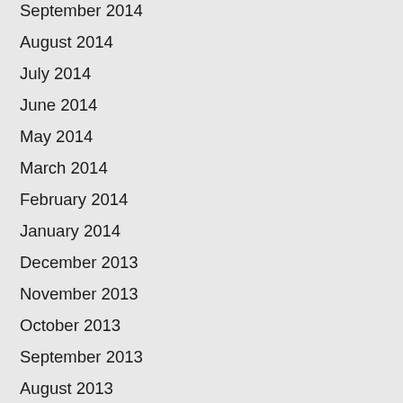September 2014
August 2014
July 2014
June 2014
May 2014
March 2014
February 2014
January 2014
December 2013
November 2013
October 2013
September 2013
August 2013
July 2013
June 2013
May 2013
April 2013
March 2013
February 2013
January 2013